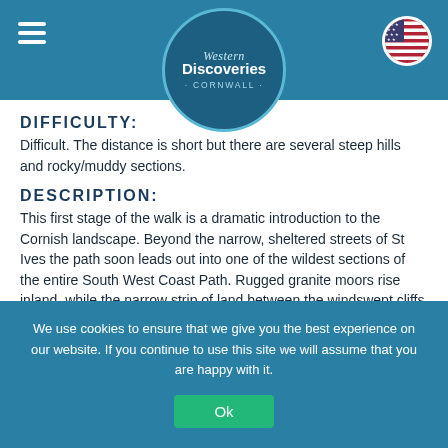[Figure (logo): Western Discoveries Cornwall circular logo on teal navigation bar with hamburger menu and US flag button]
DIFFICULTY:
Difficult. The distance is short but there are several steep hills and rocky/muddy sections.
DESCRIPTION:
This first stage of the walk is a dramatic introduction to the Cornish landscape. Beyond the narrow, sheltered streets of St Ives the path soon leads out into one of the wildest sections of the entire South West Coast Path. Rugged granite moors rise inland, while the narrow strip of land between the windswept cliffs and the hills is studded with tiny farming hamlets and stitched with stone walls dating back to prehistoric times.
The views are spectacular from the craggy headlands, with
We use cookies to ensure that we give you the best experience on our website. If you continue to use this site we will assume that you are happy with it.